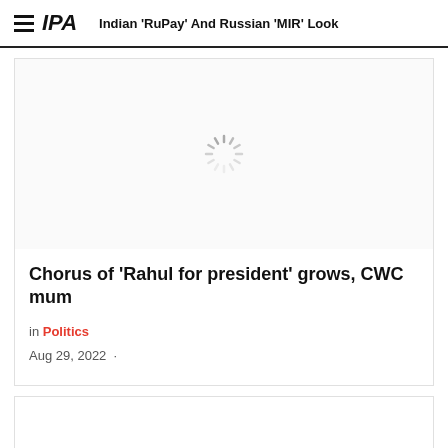IPA | Indian 'RuPay' And Russian 'MIR' Look
[Figure (photo): Loading spinner / image placeholder for article]
Chorus of 'Rahul for president' grows, CWC mum
in Politics
Aug 29, 2022 ·